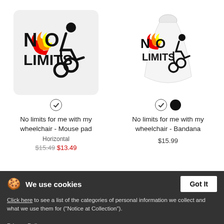[Figure (photo): Mouse pad product image showing 'No Limits' wheelchair logo with flames]
[Figure (photo): Bandana product image showing 'No Limits' wheelchair logo with flames]
No limits for me with my wheelchair - Mouse pad
Horizontal
$13.49
No limits for me with my wheelchair - Bandana
$15.99
We use cookies
Got It
Click here to see a list of the categories of personal information we collect and what we use them for ("Notice at Collection").
Privacy Policy
Do Not Sell My Personal Information
By using this website, I agree to the Terms and Conditions